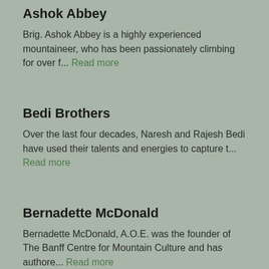Ashok Abbey
Brig. Ashok Abbey is a highly experienced mountaineer, who has been passionately climbing for over f... Read more
Bedi Brothers
Over the last four decades, Naresh and Rajesh Bedi have used their talents and energies to capture t... Read more
Bernadette McDonald
Bernadette McDonald, A.O.E. was the founder of The Banff Centre for Mountain Culture and has authore... Read more
Cadenza Collective